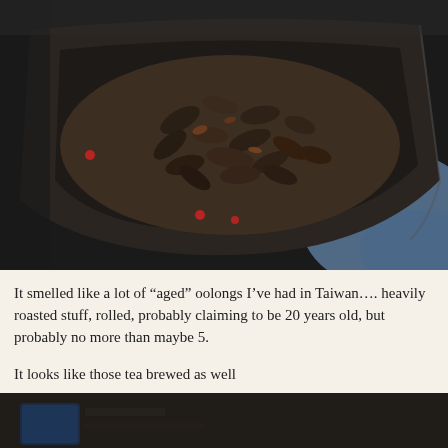[Figure (photo): Close-up photo of dark, rolled oolong tea leaves piled on a dark scoop or tray, with a blue surface visible in the background. The tea leaves appear heavily roasted and tightly rolled.]
It smelled like a lot of “aged” oolongs I’ve had in Taiwan…. heavily roasted stuff, rolled, probably claiming to be 20 years old, but probably no more than maybe 5.
It looks like those tea brewed as well
[Figure (photo): Partial photo at the bottom of the page showing a dark surface, appears to be the beginning of another tea-related image.]